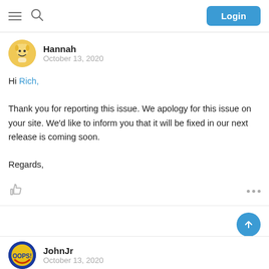Login
Hannah
October 13, 2020
Hi Rich,

Thank you for reporting this issue. We apology for this issue on your site. We'd like to inform you that it will be fixed in our next release is coming soon.

Regards,
JohnJr
October 13, 2020